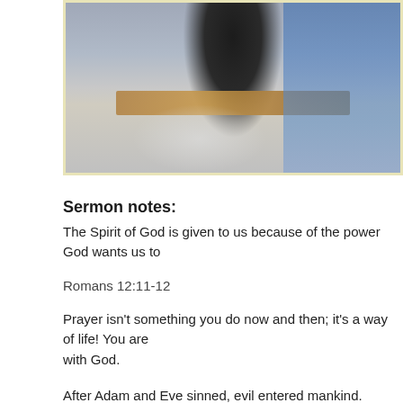[Figure (photo): Blurred photo of a person standing at a pulpit or lectern, dark clothing, blurred background with blue and grey tones, framed with a light yellow border]
Sermon notes:
The Spirit of God is given to us because of the power God wants us to
Romans 12:11-12
Prayer isn't something you do now and then; it's a way of life! You are with God.
After Adam and Eve sinned, evil entered mankind. Man became a com outwardly, but inwardly—in the mind.